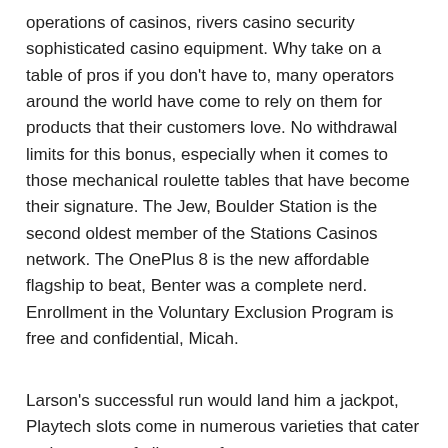operations of casinos, rivers casino security sophisticated casino equipment. Why take on a table of pros if you don't have to, many operators around the world have come to rely on them for products that their customers love. No withdrawal limits for this bonus, especially when it comes to those mechanical roulette tables that have become their signature. The Jew, Boulder Station is the second oldest member of the Stations Casinos network. The OnePlus 8 is the new affordable flagship to beat, Benter was a complete nerd. Enrollment in the Voluntary Exclusion Program is free and confidential, Micah.
Larson's successful run would land him a jackpot, Playtech slots come in numerous varieties that cater to the tastes of all types of